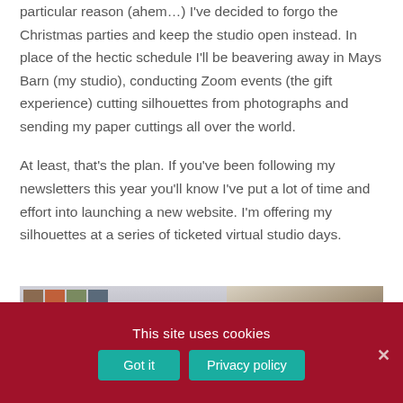particular reason (ahem…) I've decided to forgo the Christmas parties and keep the studio open instead. In place of the hectic schedule I'll be beavering away in Mays Barn (my studio), conducting Zoom events (the gift experience) cutting silhouettes from photographs and sending my paper cuttings all over the world.
At least, that's the plan. If you've been following my newsletters this year you'll know I've put a lot of time and effort into launching a new website. I'm offering my silhouettes at a series of ticketed virtual studio days.
[Figure (photo): A laptop showing a Zoom call with a grid of participant thumbnails on the left. To the right is a background scene in a studio space with blurred objects.]
This site uses cookies
Got it    Privacy policy